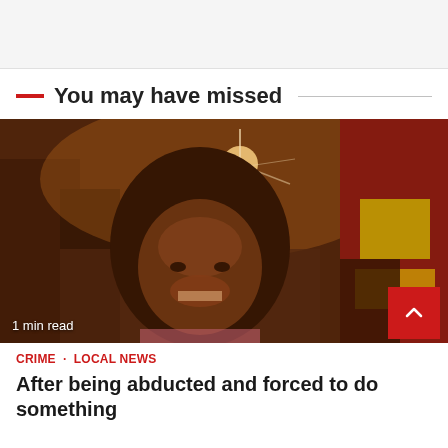You may have missed
[Figure (photo): A smiling young woman photographed at night outdoors on a street with lights and a red and yellow storefront visible in the background.]
1 min read
CRIME · LOCAL NEWS
After being abducted and forced to do something